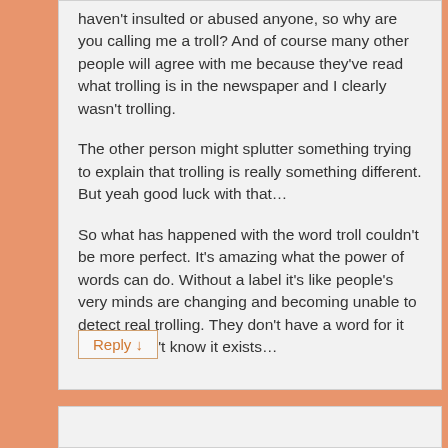haven't insulted or abused anyone, so why are you calling me a troll? And of course many other people will agree with me because they've read what trolling is in the newspaper and I clearly wasn't trolling.

The other person might splutter something trying to explain that trolling is really something different. But yeah good luck with that…

So what has happened with the word troll couldn't be more perfect. It's amazing what the power of words can do. Without a label it's like people's very minds are changing and becoming unable to detect real trolling. They don't have a word for it so they don't know it exists…
Reply ↓